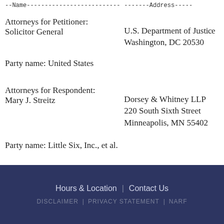--Name-------------------------- -------Address-----
Attorneys for Petitioner:
Solicitor General
U.S. Department of Justice
Washington, DC 20530
Party name: United States
Attorneys for Respondent:
Mary J. Streitz
Dorsey & Whitney LLP
220 South Sixth Street
Minneapolis, MN 55402
Party name: Little Six, Inc., et al.
Hours & Location   |   Contact Us
DISCLAIMER   |   PRIVACY STATEMENT   |   NARF